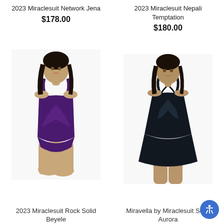2023 Miraclesuit Network Jena
$178.00
2023 Miraclesuit Nepali Temptation
$180.00
[Figure (photo): Model wearing purple one-piece swimsuit, 2023 Miraclesuit Rock Solid Beyele]
[Figure (photo): Model wearing black swimdress, Miravella by Miraclesuit Solid Aurora]
2023 Miraclesuit Rock Solid Beyele
Miravella by Miraclesuit Solid Aurora